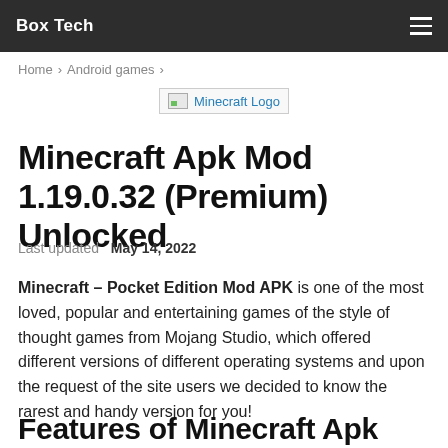Box Tech
Home › Android games ›
[Figure (logo): Minecraft Logo image placeholder]
Minecraft Apk Mod 1.19.0.32 (Premium) Unlocked
Last updated May 14, 2022
Minecraft – Pocket Edition Mod APK is one of the most loved, popular and entertaining games of the style of thought games from Mojang Studio, which offered different versions of different operating systems and upon the request of the site users we decided to know the rarest and handy version for you!
Features of Minecraft Apk